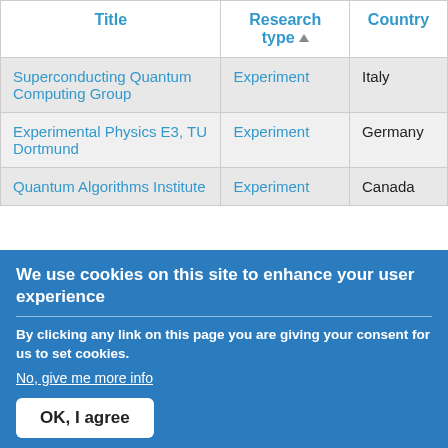| Title | Research type ▲ | Country |
| --- | --- | --- |
| Superconducting Quantum Computing Group | Experiment | Italy |
| Experimental Physics E3, TU Dortmund | Experiment | Germany |
| Quantum Algorithms Institute | Experiment | Canada |
We use cookies on this site to enhance your user experience
By clicking any link on this page you are giving your consent for us to set cookies.
No, give me more info
OK, I agree